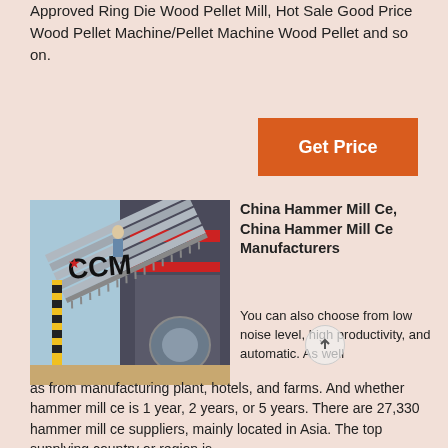Approved Ring Die Wood Pellet Mill, Hot Sale Good Price Wood Pellet Machine/Pellet Machine Wood Pellet and so on.
[Figure (other): Button labeled Get Price with orange background]
[Figure (photo): Industrial hammer mill machine with CCM logo, showing metal components and machinery in a warehouse/factory setting]
China Hammer Mill Ce, China Hammer Mill Ce Manufacturers
You can also choose from low noise level, high productivity, and automatic. As well as from manufacturing plant, hotels, and farms. And whether hammer mill ce is 1 year, 2 years, or 5 years. There are 27,330 hammer mill ce suppliers, mainly located in Asia. The top supplying country or region is